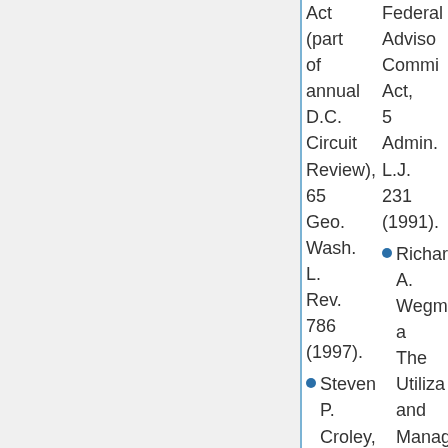Act (part of annual D.C. Circuit Review), 65 Geo. Wash. L. Rev. 786 (1997).
Federal Advisory Committee Act, 5 Admin. L.J. 231 (1991).
Steven P. Croley,
Richard A. Wegman, The Utilization and Management of Federal